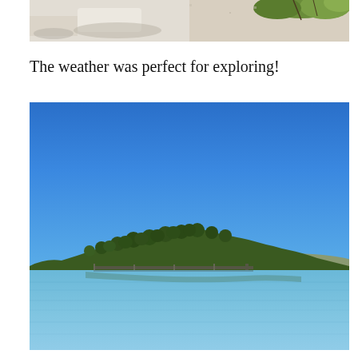[Figure (photo): Partial top of a photo showing a sandy beach area with some green foliage/trees visible in the upper right corner and shadowed ground.]
The weather was perfect for exploring!
[Figure (photo): Scenic outdoor photo of a calm blue bay or harbor under a clear bright blue sky. A forested island or peninsula with dense green trees is visible in the middle distance, and a dock or pier extends along the waterline. The water is very calm with gentle reflections.]